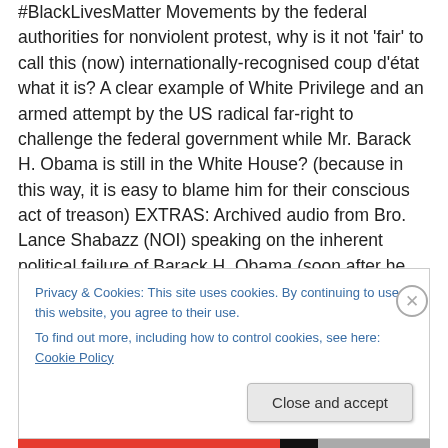#BlackLivesMatter Movements by the federal authorities for nonviolent protest, why is it not 'fair' to call this (now) internationally-recognised coup d'état what it is? A clear example of White Privilege and an armed attempt by the US radical far-right to challenge the federal government while Mr. Barack H. Obama is still in the White House? (because in this way, it is easy to blame him for their conscious act of treason) EXTRAS: Archived audio from Bro. Lance Shabazz (NOI) speaking on the inherent political failure of Barack H. Obama (soon after he was first elected) – and – US political science analyst
Privacy & Cookies: This site uses cookies. By continuing to use this website, you agree to their use. To find out more, including how to control cookies, see here: Cookie Policy